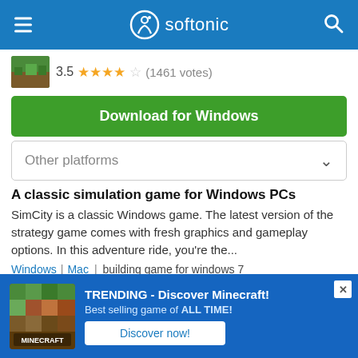softonic
3.5 (1461 votes)
Download for Windows
Other platforms
A classic simulation game for Windows PCs
SimCity is a classic Windows game. The latest version of the strategy game comes with fresh graphics and gameplay options. In this adventure ride, you're the...
Windows | Mac | building game for windows 7
city building games for windows | classic games for windows 7
laptop games
[Figure (screenshot): Minecraft advertisement banner at bottom: TRENDING - Discover Minecraft! Best selling game of ALL TIME! with Discover now! button]